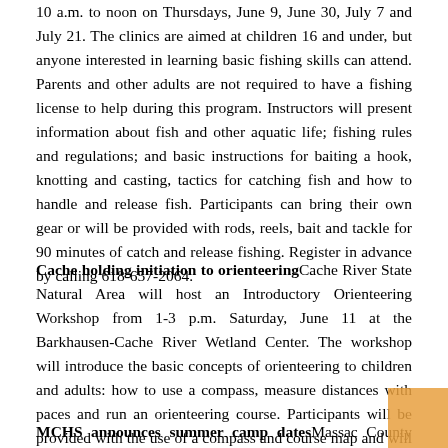10 a.m. to noon on Thursdays, June 9, June 30, July 7 and July 21. The clinics are aimed at children 16 and under, but anyone interested in learning basic fishing skills can attend. Parents and other adults are not required to have a fishing license to help during this program. Instructors will present information about fish and other aquatic life; fishing rules and regulations; and basic instructions for baiting a hook, knotting and casting, tactics for catching fish and how to handle and release fish. Participants can bring their own gear or will be provided with rods, reels, bait and tackle for 90 minutes of catch and release fishing. Register in advance by calling 618-657-2064.
Cache holding initiation to orienteeringCache River State Natural Area will host an Introductory Orienteering Workshop from 1-3 p.m. Saturday, June 11 at the Barkhausen-Cache River Wetland Center. The workshop will introduce the basic concepts of orienteering to children and adults: how to use a compass, measure distances with paces and run an orienteering course. Participants will be provided with the use of a compass and course map and will practice their new skills along a course at Egret Slough. For more information, call 618-657-2064.
MCHS announces summer camp datesMassac County High School will